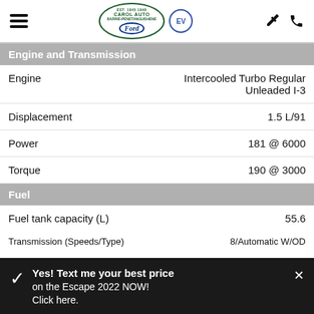Carol Auto Ford — navigation header with hamburger menu, logo, EV badge, wrench icon, phone icon
Engine and Transmission
| Specification | Value |
| --- | --- |
| Engine | Intercooled Turbo Regular Unleaded I-3 |
| Displacement | 1.5 L/91 |
| Power | 181 @ 6000 |
| Torque | 190 @ 3000 |
Fuel
| Specification | Value |
| --- | --- |
| Fuel tank capacity (L) | 55.6 |
| Fuel consumption: city (L/100km) | 8.5 |
| Fuel consumption: highway (L/100km) | 6.8 |
Transmission (Speeds/Type)    8/Automatic W/OD
Yes! Text me your best price on the Escape 2022 NOW! Click here.